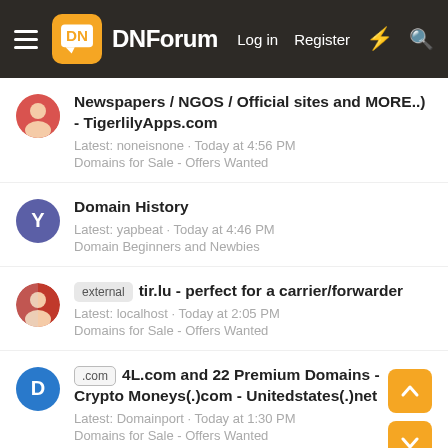DNForum — Log in  Register
Newspapers / NGOS / Official sites and MORE..) - TigerlilyApps.com
Latest: noneisnone · Today at 4:56 PM
Domains for Sale - Offers Wanted
Domain History
Latest: yapbeat · Today at 4:46 PM
Domain Beginners and Newbies
[external] tir.lu - perfect for a carrier/forwarder
Latest: localhost · Today at 2:05 PM
Domains for Sale - Offers Wanted
[.com] 4L.com and 22 Premium Domains - Crypto Moneys(.)com - Unitedstates(.)net
Latest: Domainport · Today at 1:30 PM
Domains for Sale - Offers Wanted